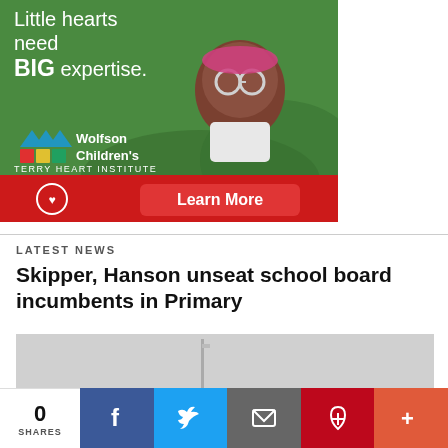[Figure (photo): Advertisement for Wolfson Children's Terry Heart Institute showing a baby girl wearing pink glasses and a pink headband, sitting on grass. Text reads: 'Little hearts need BIG expertise.' with Wolfson Children's logo and a 'Learn More' button on a red bar at the bottom.]
LATEST NEWS
Skipper, Hanson unseat school board incumbents in Primary
[Figure (photo): Partial photo of what appears to be a voting booth or election-related image, mostly light gray.]
[Figure (infographic): Social share bar showing: 0 SHARES, Facebook (f), Twitter (bird), Email (envelope), Pinterest (P), More (+)]